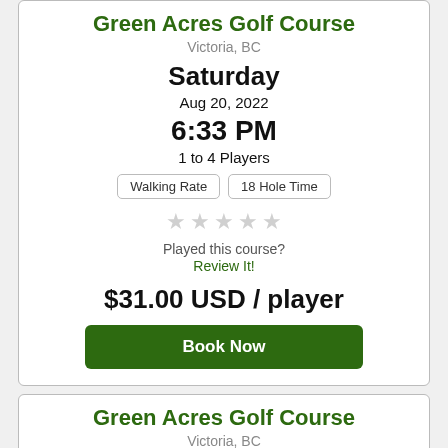Green Acres Golf Course
Victoria, BC
Saturday
Aug 20, 2022
6:33 PM
1 to 4 Players
Walking Rate | 18 Hole Time
Played this course?
Review It!
$31.00 USD / player
Book Now
Green Acres Golf Course
Victoria, BC